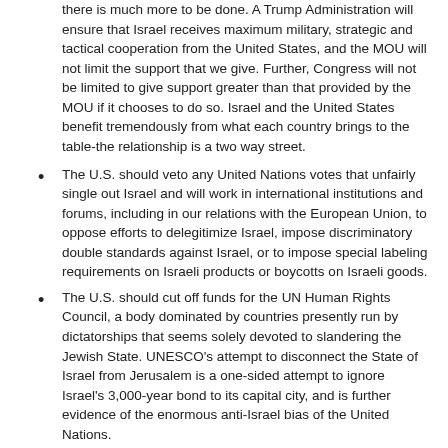there is much more to be done. A Trump Administration will ensure that Israel receives maximum military, strategic and tactical cooperation from the United States, and the MOU will not limit the support that we give. Further, Congress will not be limited to give support greater than that provided by the MOU if it chooses to do so. Israel and the United States benefit tremendously from what each country brings to the table-the relationship is a two way street.
The U.S. should veto any United Nations votes that unfairly single out Israel and will work in international institutions and forums, including in our relations with the European Union, to oppose efforts to delegitimize Israel, impose discriminatory double standards against Israel, or to impose special labeling requirements on Israeli products or boycotts on Israeli goods.
The U.S. should cut off funds for the UN Human Rights Council, a body dominated by countries presently run by dictatorships that seems solely devoted to slandering the Jewish State. UNESCO's attempt to disconnect the State of Israel from Jerusalem is a one-sided attempt to ignore Israel's 3,000-year bond to its capital city, and is further evidence of the enormous anti-Israel bias of the United Nations.